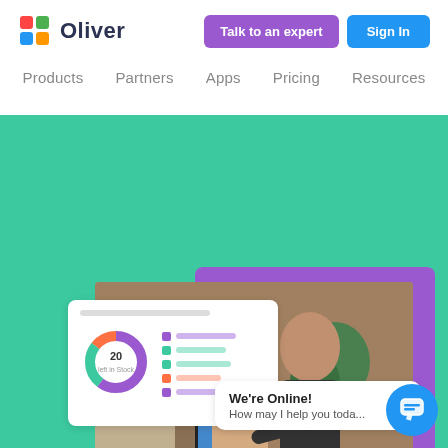Oliver | Talk to an expert | Sign In
Products  Partners  Apps  Pricing  Resources
[Figure (screenshot): Oliver website screenshot showing navigation bar with logo, 'Talk to an expert' and 'Sign In' buttons, navigation links, and a teal hero section with a dashboard card showing a donut chart, a photo of two people at a counter working on a tablet, a purple panel background, and a chat widget saying 'We're Online! How may I help you toda...']